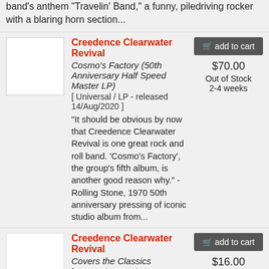band's anthem "Travelin' Band," a funny, piledriving rocker with a blaring horn section...
Creedence Clearwater Revival
Cosmo's Factory (50th Anniversary Half Speed Master LP)
[ Universal / LP - released 14/Aug/2020 ]
"It should be obvious by now that Creedence Clearwater Revival is one great rock and roll band. 'Cosmo's Factory', the group's fifth album, is another good reason why." - Rolling Stone, 1970 50th anniversary pressing of iconic studio album from...
$70.00
Out of Stock 2-4 weeks
Creedence Clearwater Revival
Covers the Classics
[ Concord Records / CD - released 18/Jun/2009 ]
$16.00
Out of Stock